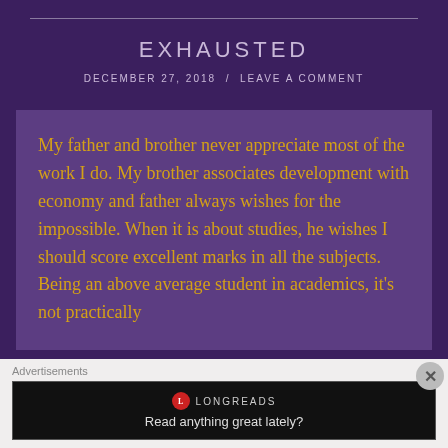EXHAUSTED
DECEMBER 27, 2018  /  LEAVE A COMMENT
My father and brother never appreciate most of the work I do. My brother associates development with economy and father always wishes for the impossible. When it is about studies, he wishes I should score excellent marks in all the subjects. Being an above average student in academics, it's not practically
Advertisements
LONGREADS
Read anything great lately?